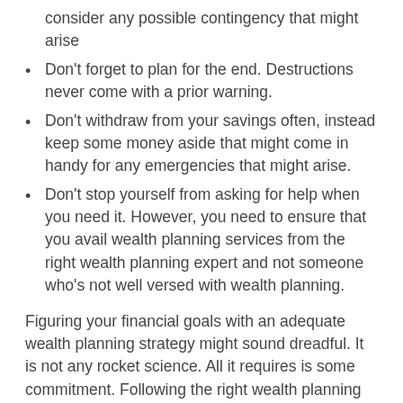consider any possible contingency that might arise
Don't forget to plan for the end. Destructions never come with a prior warning.
Don't withdraw from your savings often, instead keep some money aside that might come in handy for any emergencies that might arise.
Don't stop yourself from asking for help when you need it. However, you need to ensure that you avail wealth planning services from the right wealth planning expert and not someone who's not well versed with wealth planning.
Figuring your financial goals with an adequate wealth planning strategy might sound dreadful. It is not any rocket science. All it requires is some commitment. Following the right wealth planning tips and with the guidance of wealth planning experts, you are getting a step closer towards your financial independence and a future free of any financial stress. Hence, stop the